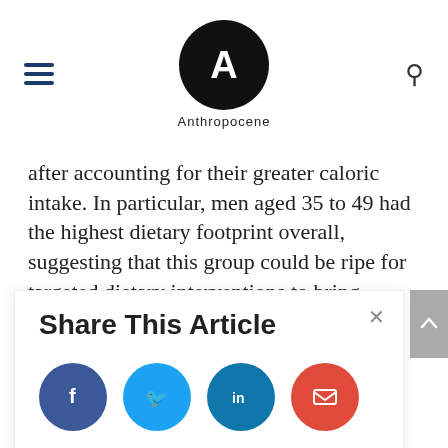Anthropocene
after accounting for their greater caloric intake. In particular, men aged 35 to 49 had the highest dietary footprint overall, suggesting that this group could be ripe for targeted dietary interventions to bring national emissions down.
The overall decline in diet-related
Share This Article